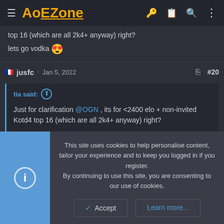AoEZone
top 16 (which are all 2k4+ anyway) right?
lets go vodka 😍
🇫🇷 jusfc · Jan 5, 2022  #20
tia said: ↑

Just for clarification @OGN , its for <2400 elo + non-invited Kotd4 top 16 (which are all 2k4+ anyway) right?

lets go vodka 😍
This site uses cookies to help personalise content, tailor your experience and to keep you logged in if you register. By continuing to use this site, you are consenting to our use of cookies.